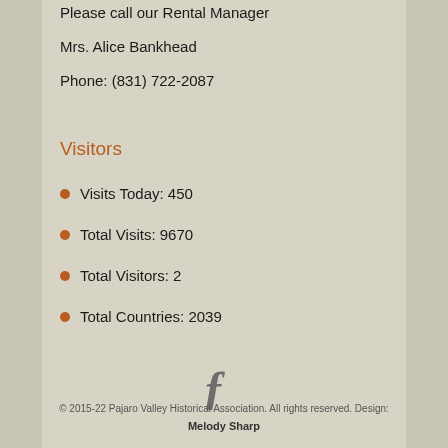Please call our Rental Manager
Mrs. Alice Bankhead
Phone: (831) 722-2087
Visitors
Visits Today: 450
Total Visits: 9670
Total Visitors: 2
Total Countries: 2039
[Figure (logo): Facebook logo icon in gray]
© 2015-22 Pajaro Valley Historical Association. All rights reserved. Design: Melody Sharp